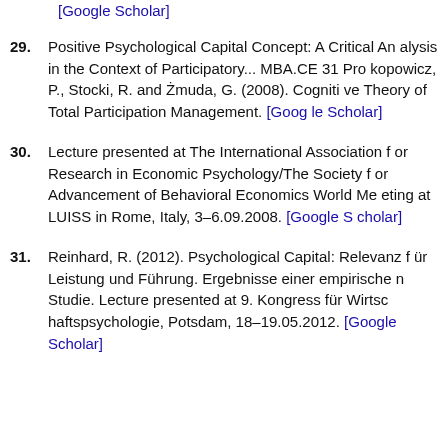29. Positive Psychological Capital Concept: A Critical Analysis in the Context of Participatory... MBA.CE 31 Prokopowicz, P., Stocki, R. and Żmuda, G. (2008). Cognitive Theory of Total Participation Management. [Google Scholar]
30. Lecture presented at The International Association for Research in Economic Psychology/The Society for Advancement of Behavioral Economics World Meeting at LUISS in Rome, Italy, 3–6.09.2008. [Google Scholar]
31. Reinhard, R. (2012). Psychological Capital: Relevanz für Leistung und Führung. Ergebnisse einer empirischen Studie. Lecture presented at 9. Kongress für Wirtschaftspsychologie, Potsdam, 18–19.05.2012. [Google Scholar]